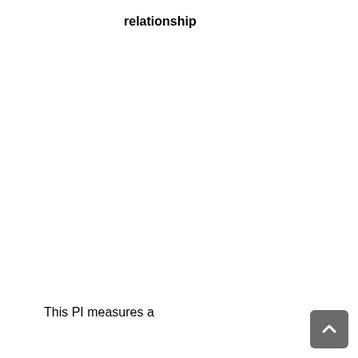relationship
This PI measures a